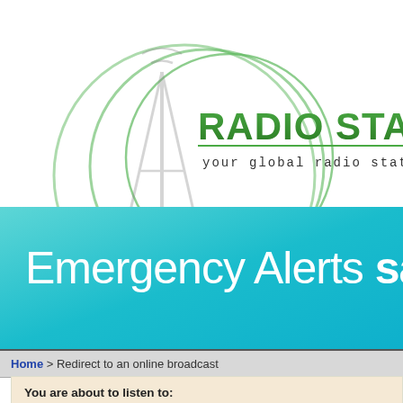[Figure (logo): Radio Station World logo with transmission tower icon and green circular rings, text 'RADIO STATION WORLD' and tagline 'your global radio station dire...']
[Figure (infographic): Teal/turquoise banner with white text reading 'Emergency Alerts save liv...']
Home > Redirect to an online broadcast
You are about to listen to:
Gea 95 FM, 95.1FM
From Altagracia de Orituco, Venezuela
Market: Estado Guárico: Est Municipios
Format: unknown
You will need to visit this station's web site to receive this webcast s...